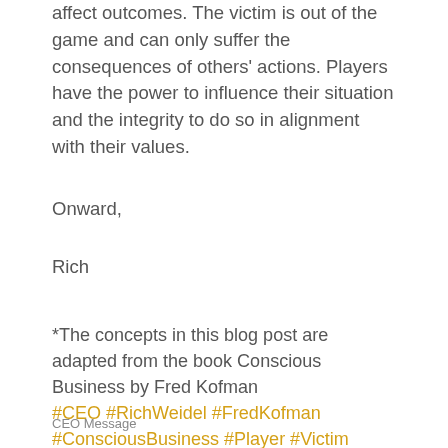affect outcomes. The victim is out of the game and can only suffer the consequences of others' actions. Players have the power to influence their situation and the integrity to do so in alignment with their values.
Onward,
Rich
*The concepts in this blog post are adapted from the book Conscious Business by Fred Kofman #CEO #RichWeidel #FredKofman #ConsciousBusiness #Player #Victim
CEO Message